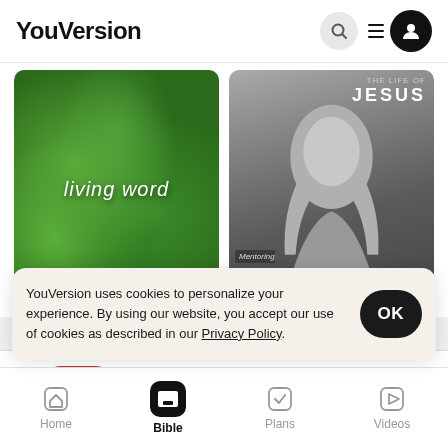YouVersion
[Figure (screenshot): Screenshot of YouVersion Bible website showing two content cards: 'living word' with green plant background, and 'THE LIFE OF JESUS' with black-and-white portrait, plus app download banner for 'The Bible App' with 4-star rating 7.9M, Download button, cookie consent notice, and bottom navigation bar with Home, Bible, Plans, Videos tabs.]